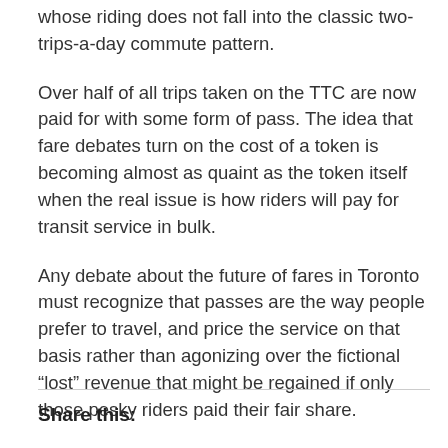whose riding does not fall into the classic two-trips-a-day commute pattern.
Over half of all trips taken on the TTC are now paid for with some form of pass. The idea that fare debates turn on the cost of a token is becoming almost as quaint as the token itself when the real issue is how riders will pay for transit service in bulk.
Any debate about the future of fares in Toronto must recognize that passes are the way people prefer to travel, and price the service on that basis rather than agonizing over the fictional “lost” revenue that might be regained if only those pesky riders paid their fair share.
Share this: